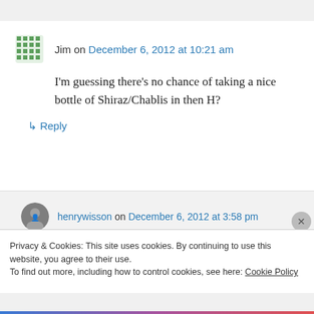Jim on December 6, 2012 at 10:21 am
I'm guessing there's no chance of taking a nice bottle of Shiraz/Chablis in then H?
↳ Reply
henrywisson on December 6, 2012 at 3:58 pm
Shiraz? Chablis? Out here?
Privacy & Cookies: This site uses cookies. By continuing to use this website, you agree to their use.
To find out more, including how to control cookies, see here: Cookie Policy
Close and accept